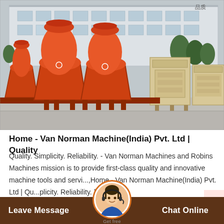[Figure (photo): Industrial machinery photo showing orange cone crushers and beige/cream colored machines lined up in a factory yard with a large grey industrial building in the background.]
Home - Van Norman Machine(India) Pvt. Ltd | Quality
Quality. Simplicity. Reliability. - Van Norman Machines and Robins Machines mission is to provide first-class quality and innovative machine tools and servi...,Home - Van Norman Machine(India) Pvt. Ltd | Qu...plicity. Reliability. | Valv...
Leave Message   Chat Online